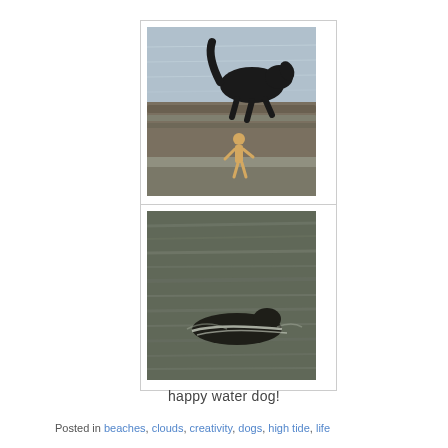[Figure (photo): A black dog silhouette jumping or running near water, with a wooden artist mannequin figure standing on a red rounded object (buoy or similar). Rocky shoreline and water in background.]
[Figure (photo): A dark dog swimming in water, viewed from the side. The water appears grey-green and rippled, with horizontal streaks suggesting motion.]
happy water dog!
Posted in beaches, clouds, creativity, dogs, high tide, life